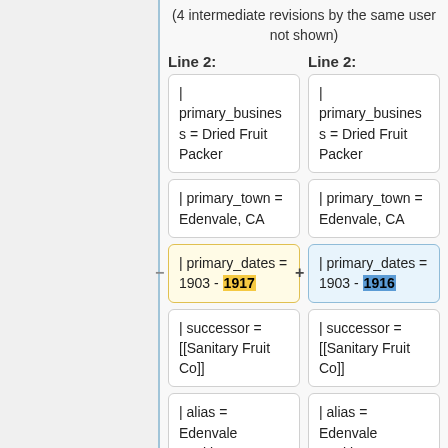(4 intermediate revisions by the same user not shown)
Line 2:
Line 2:
| primary_business = Dried Fruit Packer
| primary_business = Dried Fruit Packer
| primary_town = Edenvale, CA
| primary_town = Edenvale, CA
| primary_dates = 1903 - 1917
| primary_dates = 1903 - 1916
| successor = [[Sanitary Fruit Co]]
| successor = [[Sanitary Fruit Co]]
| alias = Edenvale Packing Company
| alias = Edenvale Packing Company